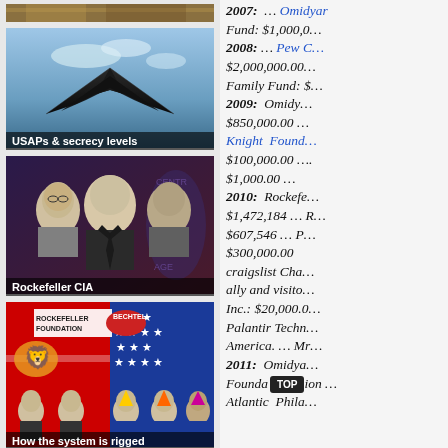[Figure (photo): Top strip showing partial image of landscape or terrain]
[Figure (photo): Stealth aircraft (F-117 or B-2 style) against blue sky with caption 'USAPs & secrecy levels']
[Figure (photo): Black and white photo of three men (Rockefeller CIA) with caption 'Rockefeller CIA']
[Figure (illustration): Colorful political illustration with Rockefeller Foundation, Bechtel logos and caricatures, caption 'How the system is rigged']
2007: ... Omidyar Fund: $1,000,0... 2008: ... Pew C... $2,000,000.00... Family Fund: $... 2009: Omidy... $850,000.00 ... Knight Found... $100,000.00 .... $1,000.00 ... 2010: Rockefe... $1,472,184 ... $607,546 ... P... $300,000.00 craigslist Cha... ally and visito... Inc.: $20,000.0... Palantir Techn... America. ... Mr... 2011: Omidya... Foundation ... Atlantic Phila...